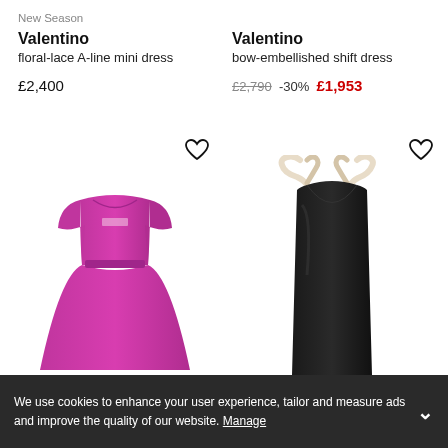New Season
Valentino
floral-lace A-line mini dress
£2,400
Valentino
bow-embellished shift dress
£2,790 -30% £1,953
[Figure (photo): Pink Valentino floral-lace A-line mini dress with short sleeves and belted waist, shown on white background]
[Figure (photo): Black Valentino bow-embellished shift dress with cream/white bow straps, shown on white background]
We use cookies to enhance your user experience, tailor and measure ads and improve the quality of our website. Manage